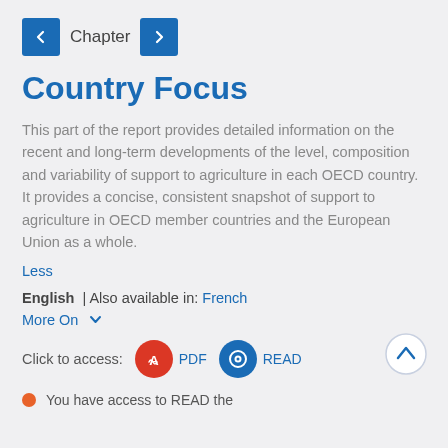Chapter
Country Focus
This part of the report provides detailed information on the recent and long-term developments of the level, composition and variability of support to agriculture in each OECD country. It provides a concise, consistent snapshot of support to agriculture in OECD member countries and the European Union as a whole.
Less
English | Also available in: French
More On
Click to access:  PDF  READ
You have access to READ the